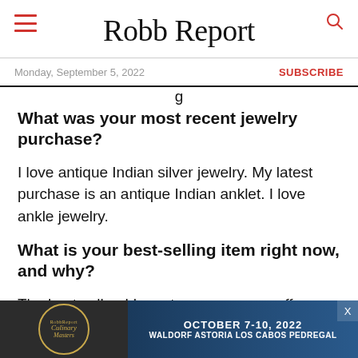Robb Report
Monday, September 5, 2022    SUBSCRIBE
What was your most recent jewelry purchase?
I love antique Indian silver jewelry. My latest purchase is an antique Indian anklet. I love ankle jewelry.
What is your best-selling item right now, and why?
The best seller, I have to say, are my cuffs
[Figure (other): Robb Report Culinary Masters advertisement banner: October 7-10, 2022, Waldorf Astoria Los Cabos Pedregal]